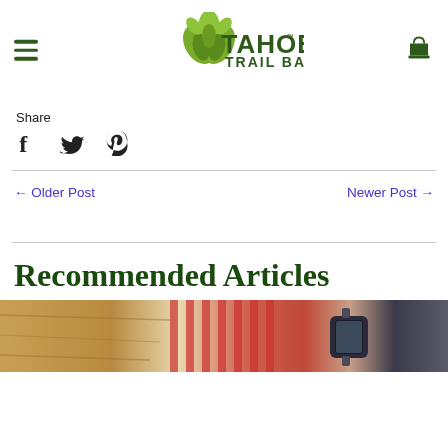Tahoe Trail Bar — navigation header with hamburger menu, logo, and cart icon
Share
f  Twitter  Pinterest (social share icons)
← Older Post
Newer Post →
Recommended Articles
[Figure (photo): Partial photo of articles section showing food/lifestyle image with red striped fabric and a smartwatch]